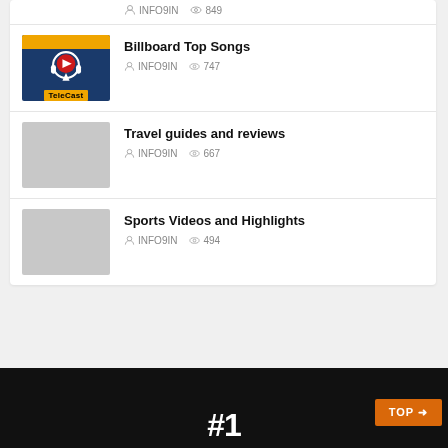INFO9IN 849
Billboard Top Songs — INFO9IN 747
Travel guides and reviews — INFO9IN 667
Sports Videos and Highlights — INFO9IN 494
[Figure (screenshot): Dark background section showing '#1' text with orange TOP button in corner]
[Figure (logo): TeleCast logo: dark blue background with red play button inside headphones icon, yellow accent bar, 'TeleCast' label]